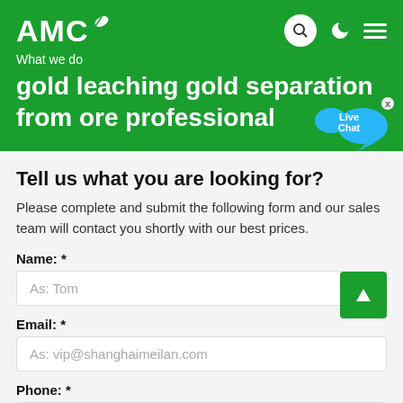AMC
What we do
gold leaching gold separation from ore professional
Tell us what you are looking for?
Please complete and submit the following form and our sales team will contact you shortly with our best prices.
Name: *
As: Tom
Email: *
As: vip@shanghaimeilan.com
Phone: *